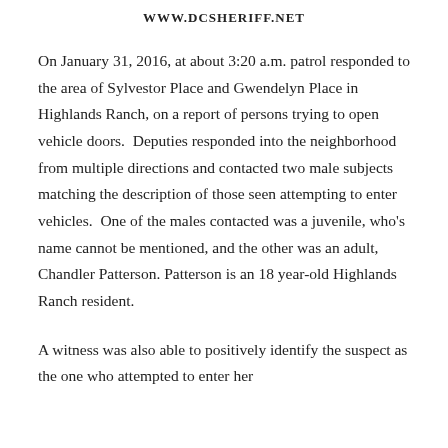WWW.DCSHERIFF.NET
On January 31, 2016, at about 3:20 a.m. patrol responded to the area of Sylvestor Place and Gwendelyn Place in Highlands Ranch, on a report of persons trying to open vehicle doors. Deputies responded into the neighborhood from multiple directions and contacted two male subjects matching the description of those seen attempting to enter vehicles. One of the males contacted was a juvenile, who's name cannot be mentioned, and the other was an adult, Chandler Patterson. Patterson is an 18 year-old Highlands Ranch resident.
A witness was also able to positively identify the suspect as the one who attempted to enter her